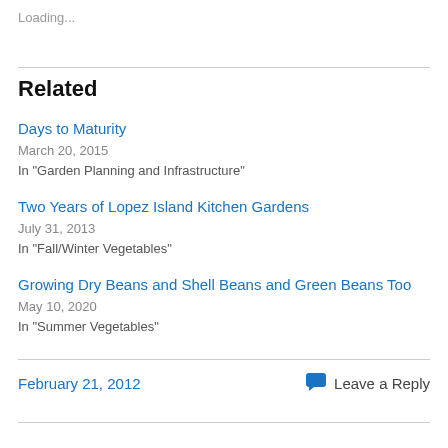Loading...
Related
Days to Maturity
March 20, 2015
In "Garden Planning and Infrastructure"
Two Years of Lopez Island Kitchen Gardens
July 31, 2013
In "Fall/Winter Vegetables"
Growing Dry Beans and Shell Beans and Green Beans Too
May 10, 2020
In "Summer Vegetables"
February 21, 2012   Leave a Reply